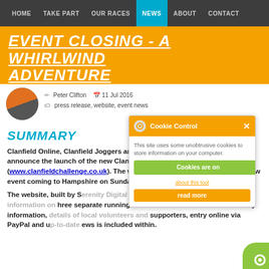HOME  TAKE PART  OUR RACES  NEWS  ABOUT  CONTACT
EVENT CLOSING - A WHIRLWIND ADVENTURE
Peter Clifton  •  11 Jul 2016
press release, website, event news
SUMMARY
Clanfield Online, Clanfield Joggers and Smart-Fit Training are pleased to announce the launch of the new Clanfield Challenge website (www.clanfieldchallenge.co.uk). The website has been built to promote a new event coming to Hampshire on Sunday ...
The website, built by Serenity Digital (www.serenitydigital.co.uk), includes information on three separate running races aimed at all abilities. All race day information, details of local volunteers and supporters, entry online via PayPal and up-to-date news is included within.
[Figure (screenshot): Cookie Control popup overlay with orange header, cogwheel icon, close button, cookie notice text, green 'Cookies are on' button, orange 'about this tool' link, and orange 'read more' button]